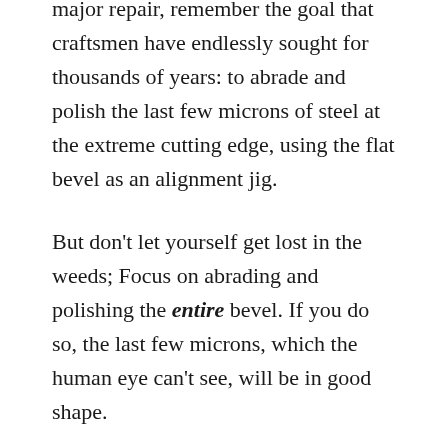major repair, remember the goal that craftsmen have endlessly sought for thousands of years: to abrade and polish the last few microns of steel at the extreme cutting edge, using the flat bevel as an alignment jig.
But don't let yourself get lost in the weeds; Focus on abrading and polishing the entire bevel. If you do so, the last few microns, which the human eye can't see, will be in good shape.
Focus the majority of your finger's pressure on the extreme cutting edge, and less on the rear of the bevel, but without lifting the rear of the bevel off the stone. In the case of Japanese blades, the rear of the bevel is all soft jigane iron and will take care of itself. Yes, it is a balancing act. Yes, it takes focus. Yes, you will make mistakes, overbalance, gouge the stone and mess up the